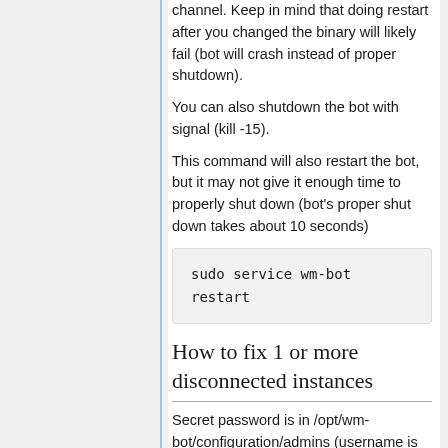channel. Keep in mind that doing restart after you changed the binary will likely fail (bot will crash instead of proper shutdown).
You can also shutdown the bot with signal (kill -15).
This command will also restart the bot, but it may not give it enough time to properly shut down (bot's proper shut down takes about 10 seconds)
sudo service wm-bot restart
How to fix 1 or more disconnected instances
Secret password is in /opt/wm-bot/configuration/admins (username is root) it's on first row third column